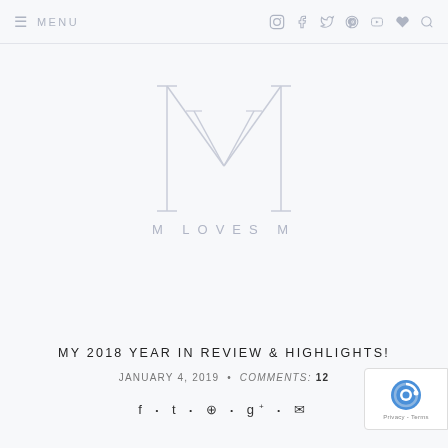☰ MENU  [social icons: instagram, facebook, twitter, pinterest, youtube, heart, search]
[Figure (logo): M LOVES M blog logo — a large outlined letter M monogram in light grey/lavender, with the text 'M LOVES M' in spaced uppercase letters beneath it]
MY 2018 YEAR IN REVIEW & HIGHLIGHTS!
JANUARY 4, 2019  •  COMMENTS: 12
f • 𝕥 • ⊕ • g+ • ✉